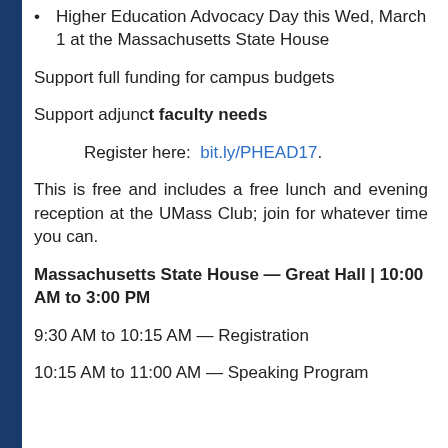Higher Education Advocacy Day this Wed, March 1 at the Massachusetts State House
Support full funding for campus budgets
Support adjunct faculty needs
Register here: bit.ly/PHEAD17.
This is free and includes a free lunch and evening reception at the UMass Club; join for whatever time you can.
Massachusetts State House — Great Hall | 10:00 AM to 3:00 PM
9:30 AM to 10:15 AM — Registration
10:15 AM to 11:00 AM — Speaking Program